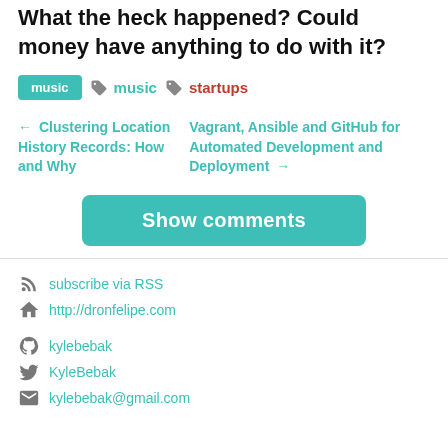What the heck happened? Could money have anything to do with it?
music  music  startups
← Clustering Location History Records: How and Why
Vagrant, Ansible and GitHub for Automated Development and Deployment →
Show comments
subscribe via RSS
http://dronfelipe.com
kylebebak
KyleBebak
kylebebak@gmail.com